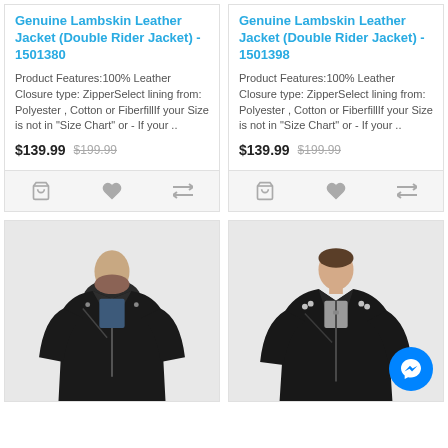Genuine Lambskin Leather Jacket (Double Rider Jacket) - 1501380
Product Features:100% Leather Closure type: ZipperSelect lining from: Polyester , Cotton or FiberfillIf your Size is not in "Size Chart" or - If your ..
$139.99   $199.99
Genuine Lambskin Leather Jacket (Double Rider Jacket) - 1501398
Product Features:100% Leather Closure type: ZipperSelect lining from: Polyester , Cotton or FiberfillIf your Size is not in "Size Chart" or - If your ..
$139.99   $199.99
[Figure (photo): Man wearing a black double rider lambskin leather jacket, front view]
[Figure (photo): Man wearing a black double rider lambskin leather jacket, front view with messenger chat button overlay]